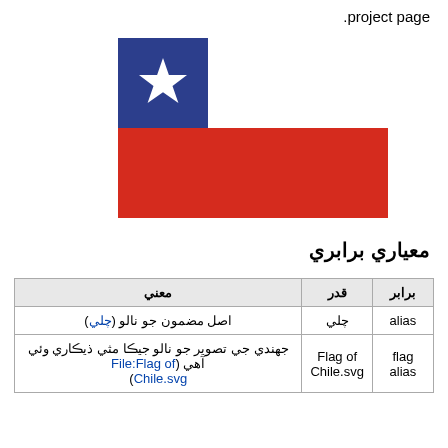.project page
[Figure (illustration): Flag of Chile: blue square in upper-left with white star, white stripe, and red stripe]
معياري برابري
| برابر | قدر | معني |
| --- | --- | --- |
| alias | چلي | اصل مضمون جو نالو (چلي) |
| flag alias | Flag of Chile.svg | جهندي جي تصوير جو نالو جيڪا مثي ذيڪاري وئي آهي (File:Flag of Chile.svg) |